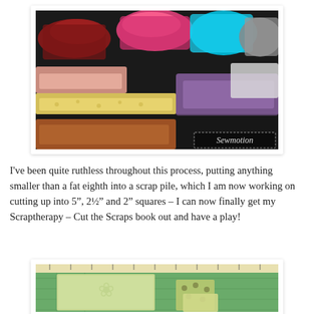[Figure (photo): Photo of colorful fabric scraps sorted by color (red, pink, teal, grey, salmon, yellow, purple, orange) spread on a dark surface. Watermark reads 'Sewmotion' in bottom right corner.]
I've been quite ruthless throughout this process, putting anything smaller than a fat eighth into a scrap pile, which I am now working on cutting up into 5", 2½" and 2" squares – I can now finally get my Scraptherapy – Cut the Scraps book out and have a play!
[Figure (photo): Photo of green patterned fabric squares stacked on a cutting mat with ruler markings visible in the background.]